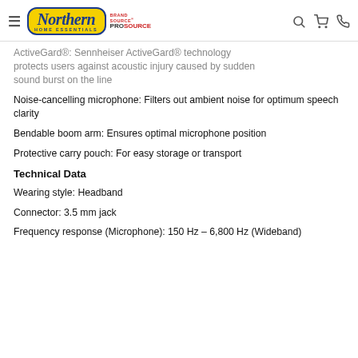Northern Home Essentials — Brand Source ProSource
ActiveGard®: Sennheiser ActiveGard® technology protects users against acoustic injury caused by sudden sound burst on the line
Noise-cancelling microphone: Filters out ambient noise for optimum speech clarity
Bendable boom arm: Ensures optimal microphone position
Protective carry pouch: For easy storage or transport
Technical Data
Wearing style: Headband
Connector: 3.5 mm jack
Frequency response (Microphone): 150 Hz – 6,800 Hz (Wideband)